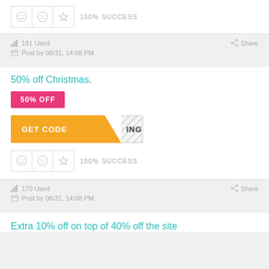[Figure (infographic): Rating icons (smiley, neutral, star) with 100% SUCCESS label]
191 Used
Share
Post by 08/31, 14:08 PM
50% off Christmas.
50% OFF
[Figure (infographic): GET CODE button with orange left side and striped right side showing ING]
[Figure (infographic): Rating icons (smiley, neutral, star) with 100% SUCCESS label]
170 Used
Share
Post by 08/31, 14:08 PM
Extra 10% off on top of 40% off the site